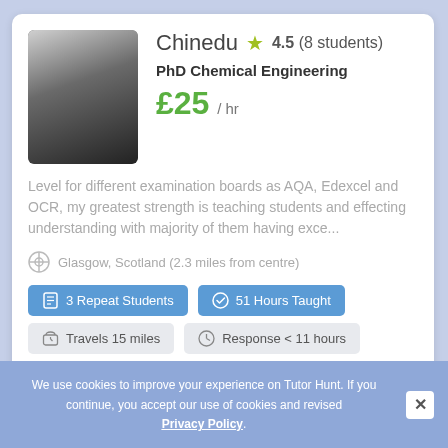Chinedu  4.5 (8 students)
PhD Chemical Engineering
£25 / hr
Level for different examination boards as AQA, Edexcel and OCR, my greatest strength is teaching students and effecting understanding with majority of them having exce...
Glasgow, Scotland (2.3 miles from centre)
3 Repeat Students
51 Hours Taught
Travels 15 miles
Response < 11 hours
Member for 7 years
We use cookies to improve your experience on Tutor Hunt. If you continue, you accept our use of cookies and revised Privacy Policy.